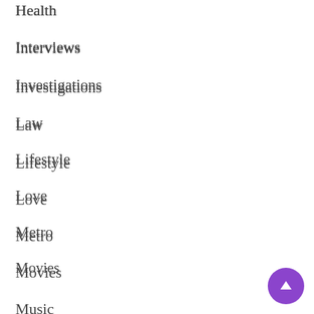Health
Interviews
Investigations
Law
Lifestyle
Love
Metro
Movies
Music
News
Opinion
Politics